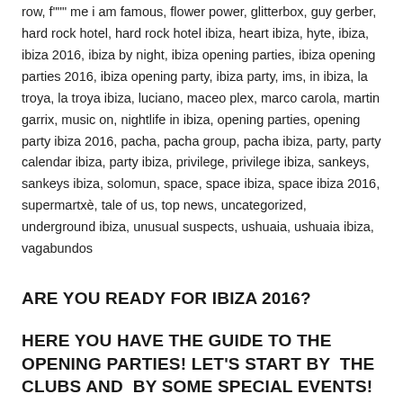row, f""" me i am famous, flower power, glitterbox, guy gerber, hard rock hotel, hard rock hotel ibiza, heart ibiza, hyte, ibiza, ibiza 2016, ibiza by night, ibiza opening parties, ibiza opening parties 2016, ibiza opening party, ibiza party, ims, in ibiza, la troya, la troya ibiza, luciano, maceo plex, marco carola, martin garrix, music on, nightlife in ibiza, opening parties, opening party ibiza 2016, pacha, pacha group, pacha ibiza, party, party calendar ibiza, party ibiza, privilege, privilege ibiza, sankeys, sankeys ibiza, solomun, space, space ibiza, space ibiza 2016, supermartxè, tale of us, top news, uncategorized, underground ibiza, unusual suspects, ushuaia, ushuaia ibiza, vagabundos
ARE YOU READY FOR IBIZA 2016?
HERE YOU HAVE THE GUIDE TO THE OPENING PARTIES! LET'S START BY  THE CLUBS AND  BY SOME SPECIAL EVENTS!